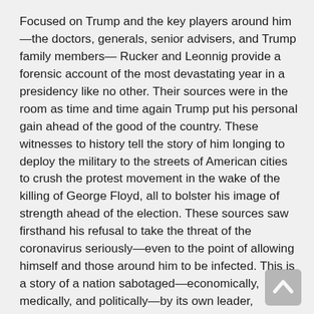Focused on Trump and the key players around him—the doctors, generals, senior advisers, and Trump family members— Rucker and Leonnig provide a forensic account of the most devastating year in a presidency like no other. Their sources were in the room as time and time again Trump put his personal gain ahead of the good of the country. These witnesses to history tell the story of him longing to deploy the military to the streets of American cities to crush the protest movement in the wake of the killing of George Floyd, all to bolster his image of strength ahead of the election. These sources saw firsthand his refusal to take the threat of the coronavirus seriously—even to the point of allowing himself and those around him to be infected. This is a story of a nation sabotaged—economically, medically, and politically—by its own leader, culminating with a groundbreaking, minute-by-minute account of exactly what went on in the Capitol building on January 6, as Trump's supporters so easily breached the most sacred halls of American democracy, and how the president reacted. With unparalleled access, Rucker and Leonnig explain and expose exactly who enabled—and who foiled—Trump as he sought